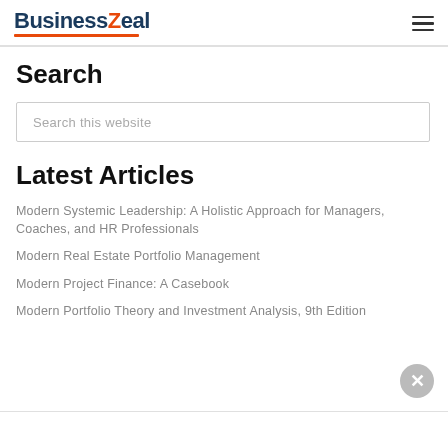[Figure (logo): BusinessZeal logo with orange Z and arrow accent, underlined in orange]
Search
Search this website
Latest Articles
Modern Systemic Leadership: A Holistic Approach for Managers, Coaches, and HR Professionals
Modern Real Estate Portfolio Management
Modern Project Finance: A Casebook
Modern Portfolio Theory and Investment Analysis, 9th Edition